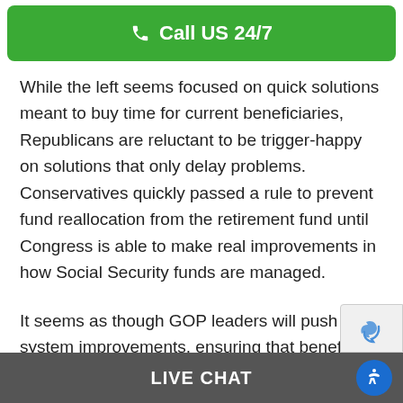Call US 24/7
While the left seems focused on quick solutions meant to buy time for current beneficiaries, Republicans are reluctant to be trigger-happy on solutions that only delay problems. Conservatives quickly passed a rule to prevent fund reallocation from the retirement fund until Congress is able to make real improvements in how Social Security funds are managed.
It seems as though GOP leaders will push for system improvements, ensuring that benefici…
LIVE CHAT